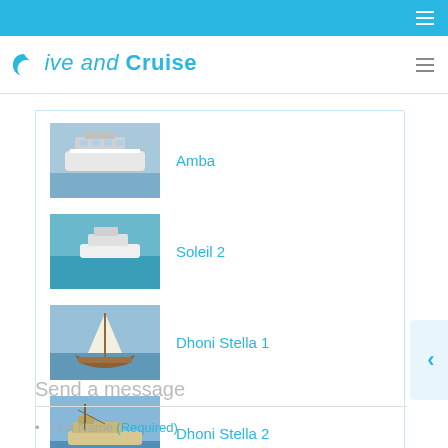Dive and Cruise
[Figure (screenshot): List of boats: Amba, Soleil 2, Dhoni Stella 1, Dhoni Stella 2 with thumbnail images]
Amba
Soleil 2
Dhoni Stella 1
Dhoni Stella 2
Send a message
First Name (Required)